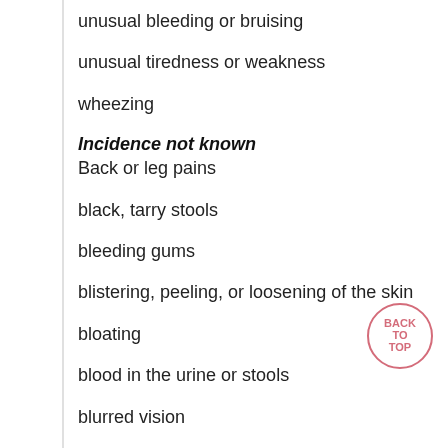unusual bleeding or bruising
unusual tiredness or weakness
wheezing
Incidence not known
Back or leg pains
black, tarry stools
bleeding gums
blistering, peeling, or loosening of the skin
bloating
blood in the urine or stools
blurred vision
burning, crawling, itching, numbness, prickling, "pins